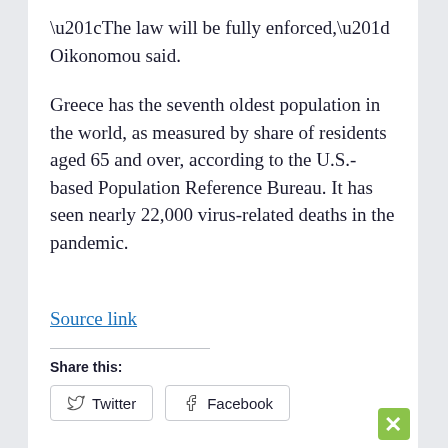“The law will be fully enforced,” Oikonomou said.
Greece has the seventh oldest population in the world, as measured by share of residents aged 65 and over, according to the U.S.-based Population Reference Bureau. It has seen nearly 22,000 virus-related deaths in the pandemic.
Source link
Share this:
Twitter
Facebook